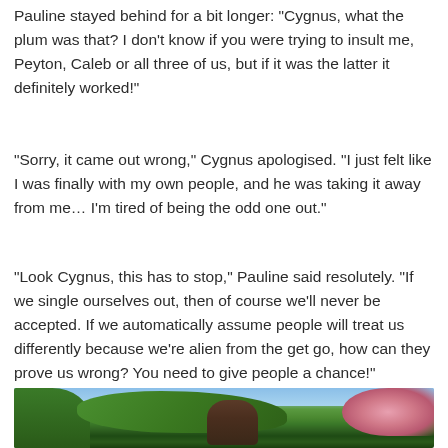Pauline stayed behind for a bit longer: “Cygnus, what the plum was that? I don’t know if you were trying to insult me, Peyton, Caleb or all three of us, but if it was the latter it definitely worked!”
“Sorry, it came out wrong,” Cygnus apologised. “I just felt like I was finally with my own people, and he was taking it away from me… I’m tired of being the odd one out.”
“Look Cygnus, this has to stop,” Pauline said resolutely. “If we single ourselves out, then of course we’ll never be accepted. If we automatically assume people will treat us differently because we’re alien from the get go, how can they prove us wrong? You need to give people a chance!”
[Figure (screenshot): A screenshot from The Sims 4 showing a male character with dark hair standing in an outdoor park-like area with trees and cherry blossoms in the background, blue sky above.]